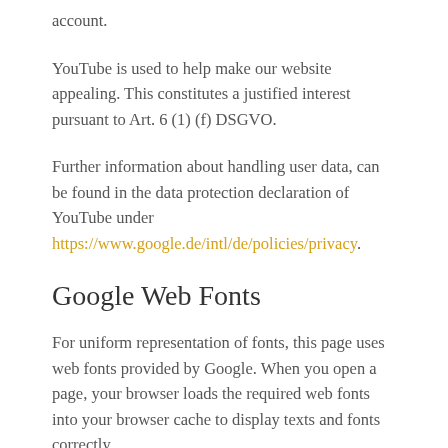account.
YouTube is used to help make our website appealing. This constitutes a justified interest pursuant to Art. 6 (1) (f) DSGVO.
Further information about handling user data, can be found in the data protection declaration of YouTube under https://www.google.de/intl/de/policies/privacy.
Google Web Fonts
For uniform representation of fonts, this page uses web fonts provided by Google. When you open a page, your browser loads the required web fonts into your browser cache to display texts and fonts correctly.